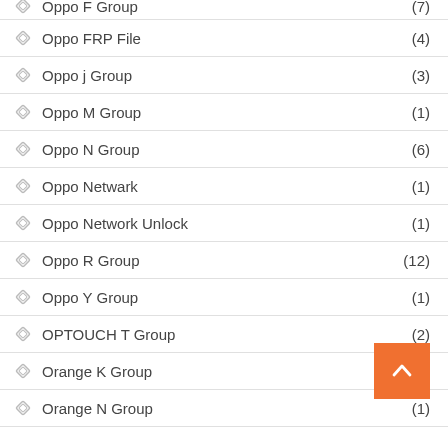Oppo F Group (7)
Oppo FRP File (4)
Oppo j Group (3)
Oppo M Group (1)
Oppo N Group (6)
Oppo Netwark (1)
Oppo Network Unlock (1)
Oppo R Group (12)
Oppo Y Group (1)
OPTOUCH T Group (2)
Orange K Group
Orange N Group (1)